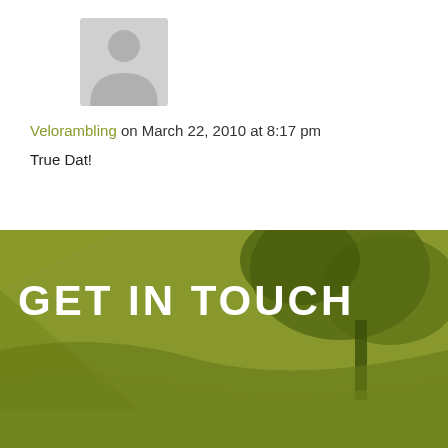[Figure (illustration): Grey silhouette avatar placeholder icon of a person, upper body]
Velorambling on March 22, 2010 at 8:17 pm
True Dat!
[Figure (photo): Green tinted outdoor photo showing trees and architectural elements (canopy/awning), with dark olive green overlay. Large white bold text reads GET IN TOUCH.]
GET IN TOUCH